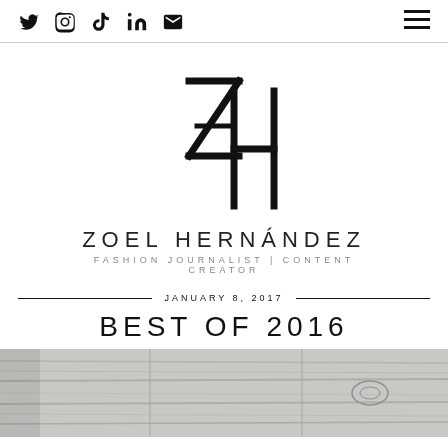Social icons: Twitter, Instagram, TikTok, LinkedIn, Email | Hamburger menu
[Figure (logo): ZH monogram logo — stylized Z and H letterforms combined]
ZOEL HERNÁNDEZ
FASHION JOURNALIST | CONTENT CREATOR
JANUARY 8, 2017
BEST OF 2016
[Figure (photo): Black and white photo of wood grain / flooring texture]